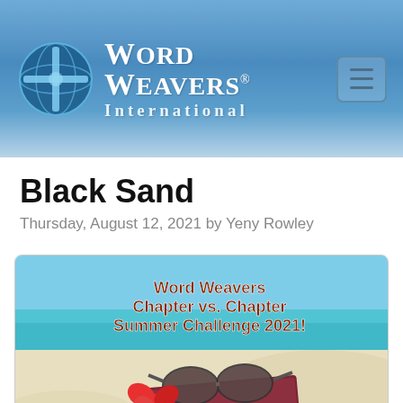[Figure (logo): Word Weavers International logo with blue cross/globe icon and text]
Black Sand
Thursday, August 12, 2021 by Yeny Rowley
[Figure (photo): Beach photo with sunglasses, red hibiscus flower, and book on white sand with turquoise ocean in background. Text overlay reads: Word Weavers Chapter vs. Chapter Summer Challenge 2021!]